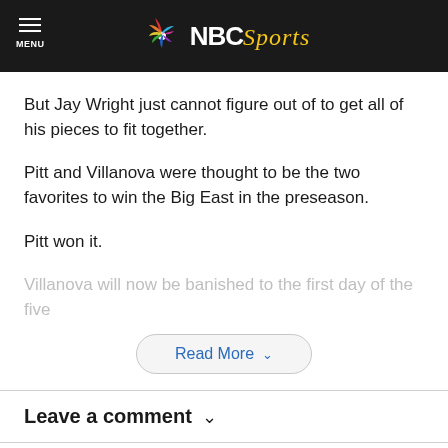NBC Sports
But Jay Wright just cannot figure out of to get all of his pieces to fit together.
Pitt and Villanova were thought to be the two favorites to win the Big East in the preseason.
Pitt won it.
Villanova will now be banished to the first day of the five
Read More
Leave a comment
Taboola Feed